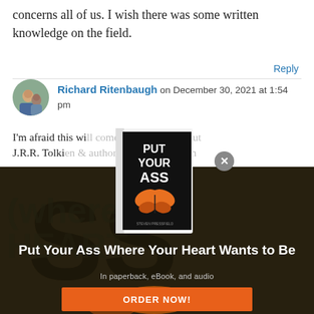concerns all of us. I wish there was some written knowledge on the field.
Reply
Richard Ritenbaugh on December 30, 2021 at 1:54 pm
I'm afraid this wi... cross as picky, b... J.R.R. Tolkien d... of the Bi... writt...
[Figure (screenshot): Book advertisement popup overlay showing 'Put Your Ass Where Your Heart Wants to Be' book cover with close button, over a dark background ad section with ORDER NOW button]
Put Your Ass Where Your Heart Wants to Be
In paperback, eBook, and audio
ORDER NOW!